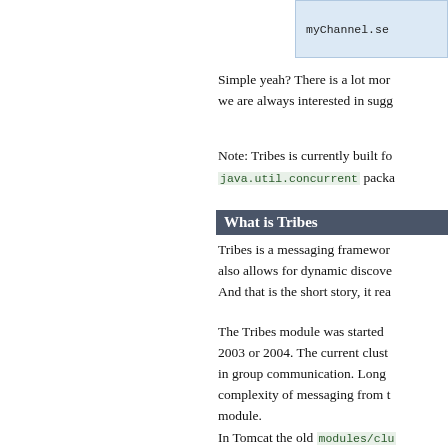myChannel.se
Simple yeah? There is a lot mor we are always interested in sugg
Note: Tribes is currently built fo java.util.concurrent packa
What is Tribes
Tribes is a messaging framewor also allows for dynamic discove And that is the short story, it rea
The Tribes module was started 2003 or 2004. The current clust in group communication. Long complexity of messaging from t module.
In Tomcat the old modules/clu development to proceed and let details of a module they are not when trying to develop them in